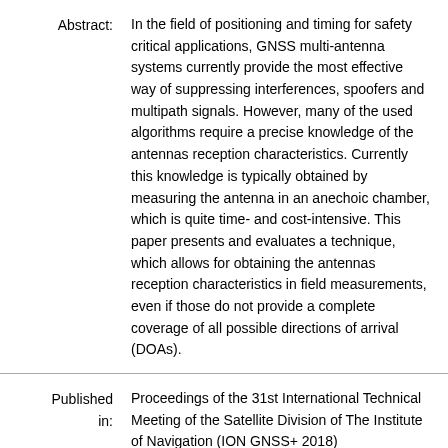Abstract: In the field of positioning and timing for safety critical applications, GNSS multi-antenna systems currently provide the most effective way of suppressing interferences, spoofers and multipath signals. However, many of the used algorithms require a precise knowledge of the antennas reception characteristics. Currently this knowledge is typically obtained by measuring the antenna in an anechoic chamber, which is quite time- and cost-intensive. This paper presents and evaluates a technique, which allows for obtaining the antennas reception characteristics in field measurements, even if those do not provide a complete coverage of all possible directions of arrival (DOAs).
Published in: Proceedings of the 31st International Technical Meeting of the Satellite Division of The Institute of Navigation (ION GNSS+ 2018) September 24 - 28, 2018 Hyatt Regency Miami Miami, Florida
Pages: 4004 - 4011